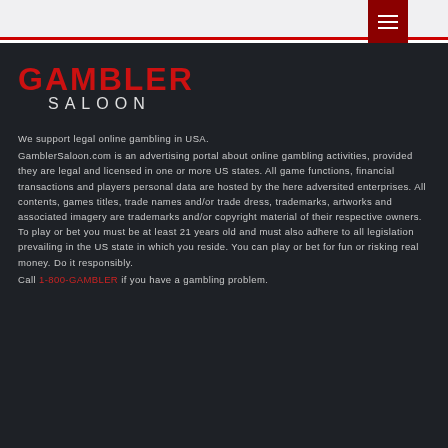[Figure (logo): Gambler Saloon logo with GAMBLER in red bold text and SALOON in white spaced letters below]
We support legal online gambling in USA. GamblerSaloon.com is an advertising portal about online gambling activities, provided they are legal and licensed in one or more US states. All game functions, financial transactions and players personal data are hosted by the here adversited enterprises. All contents, games titles, trade names and/or trade dress, trademarks, artworks and associated imagery are trademarks and/or copyright material of their respective owners. To play or bet you must be at least 21 years old and must also adhere to all legislation prevailing in the US state in which you reside. You can play or bet for fun or risking real money. Do it responsibly. Call 1-800-GAMBLER if you have a gambling problem.